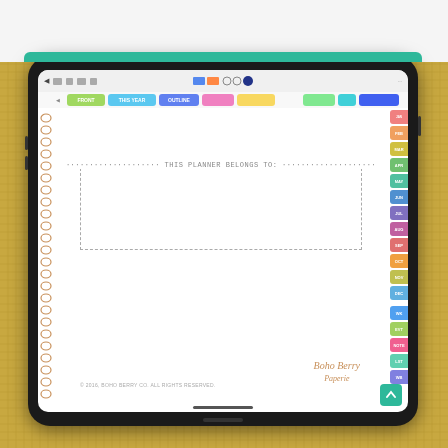[Figure (photo): Photograph of an iPad in a teal/green case, displayed on a burlap background. The iPad screen shows a digital planner app with colorful navigation tabs (FRONT, THIS YEAR, OUTLINE, and colored tabs) and a planner page that says 'THIS PLANNER BELONGS TO:' with a dashed border box. Spiral binding rings are visible on the left side of the planner. Right side has colored month/section tabs. The brand logo 'Boho Berry Paperie' appears in the lower right of the screen. Copyright text is at the bottom left.]